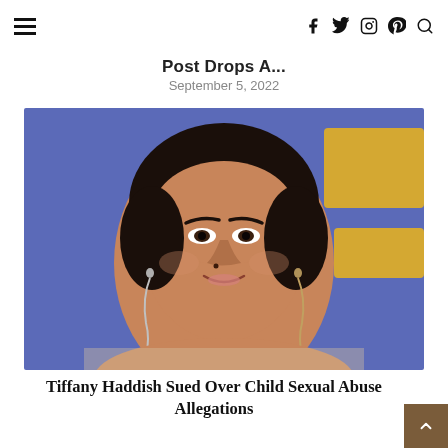Navigation bar with hamburger menu and social icons (f, twitter, instagram, pinterest, search)
Post Drops A...
September 5, 2022
[Figure (photo): Close-up photo of Tiffany Haddish smiling, wearing long silver drop earrings, against a blue awards show backdrop with partial yellow lettering visible.]
Tiffany Haddish Sued Over Child Sexual Abuse Allegations